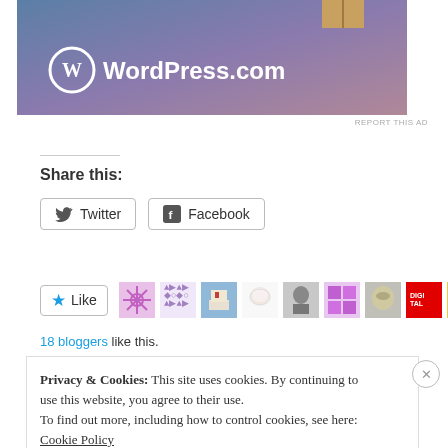[Figure (screenshot): WordPress.com advertisement banner with gradient blue-purple background, WordPress logo circle and text 'WordPress.com', and a gift box icon]
REPORT THIS AD
Share this:
Twitter  Facebook
[Figure (screenshot): Like button with star icon and 18 bloggers thumbnail avatars row]
18 bloggers like this.
Privacy & Cookies: This site uses cookies. By continuing to use this website, you agree to their use.
To find out more, including how to control cookies, see here: Cookie Policy
Close and accept